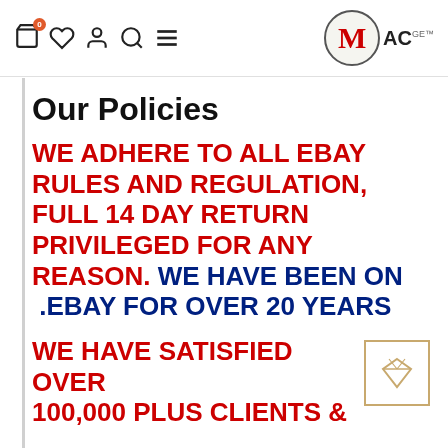MAC GE — navigation header with cart, wishlist, account, search, menu icons and MAC GE logo
Our Policies
WE ADHERE TO ALL EBAY RULES AND REGULATION, FULL 14 DAY RETURN PRIVILEGED FOR ANY REASON. WE HAVE BEEN ON .EBAY FOR OVER 20 YEARS
WE HAVE SATISFIED OVER 100,000 PLUS CLIENTS &